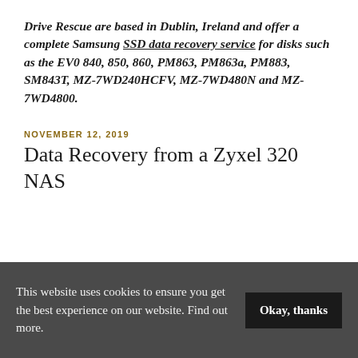Drive Rescue are based in Dublin, Ireland and offer a complete Samsung SSD data recovery service for disks such as the EV0 840, 850, 860, PM863, PM863a, PM883, SM843T, MZ-7WD240HCFV, MZ-7WD480N and MZ-7WD4800.
NOVEMBER 12, 2019
Data Recovery from a Zyxel 320 NAS
[Figure (photo): Photo of a Zyxel 320 NAS device — a dark grey/black rectangular enclosure with ventilation ridges on the left side and a blue power button on the front panel.]
This website uses cookies to ensure you get the best experience on our website. Find out more.